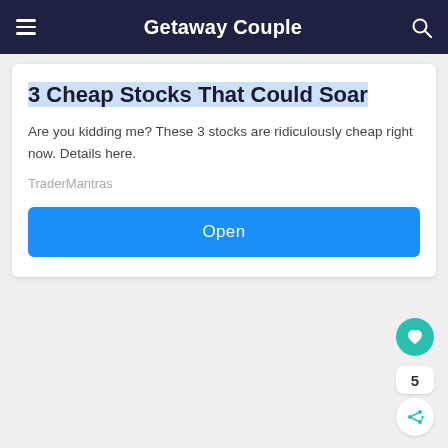Getaway Couple
3 Cheap Stocks That Could Soar
Are you kidding me? These 3 stocks are ridiculously cheap right now. Details here.
TraderMantras
Open